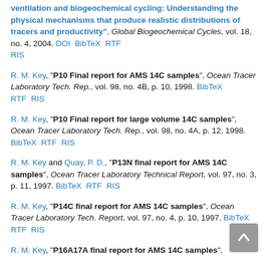ventilation and biogeochemical cycling: Understanding the physical mechanisms that produce realistic distributions of tracers and productivity", Global Biogeochemical Cycles, vol. 18, no. 4, 2004. DOI BibTeX RTF RIS
R. M. Key, "P10 Final report for AMS 14C samples", Ocean Tracer Laboratory Tech. Rep., vol. 98, no. 4B, p. 10, 1998. BibTeX RTF RIS
R. M. Key, "P10 Final report for large volume 14C samples", Ocean Tracer Laboratory Tech. Rep., vol. 98, no. 4A, p. 12, 1998. BibTeX RTF RIS
R. M. Key and Quay, P. D., "P13N final report for AMS 14C samples", Ocean Tracer Laboratory Technical Report, vol. 97, no. 3, p. 11, 1997. BibTeX RTF RIS
R. M. Key, "P14C final report for AMS 14C samples", Ocean Tracer Laboratory Tech. Report, vol. 97, no. 4, p. 10, 1997. BibTeX RTF RIS
R. M. Key, "P16A17A final report for AMS 14C samples",